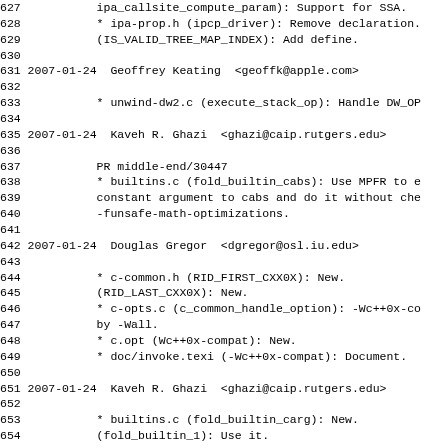627           ipa_callsite_compute_param): Support for SSA.
628           * ipa-prop.h (ipcp_driver): Remove declaration.
629           (IS_VALID_TREE_MAP_INDEX): Add define.
630
631 2007-01-24  Geoffrey Keating  <geoffk@apple.com>
632
633           * unwind-dw2.c (execute_stack_op): Handle DW_OP
634
635 2007-01-24  Kaveh R. Ghazi  <ghazi@caip.rutgers.edu>
636
637           PR middle-end/30447
638           * builtins.c (fold_builtin_cabs): Use MPFR to e
639           constant argument to cabs and do it without che
640           -funsafe-math-optimizations.
641
642 2007-01-24  Douglas Gregor  <dgregor@osl.iu.edu>
643
644           * c-common.h (RID_FIRST_CXX0X): New.
645           (RID_LAST_CXX0X): New.
646           * c-opts.c (c_common_handle_option): -Wc++0x-co
647           by -Wall.
648           * c.opt (Wc++0x-compat): New.
649           * doc/invoke.texi (-Wc++0x-compat): Document.
650
651 2007-01-24  Kaveh R. Ghazi  <ghazi@caip.rutgers.edu>
652
653           * builtins.c (fold_builtin_carg): New.
654           (fold_builtin_1): Use it.
655
656 2007-01-24  Jan Hubicka  <jh@suse.cz>
657
658           * ipa-inline.c (cgraph_decide_inlining): Initia